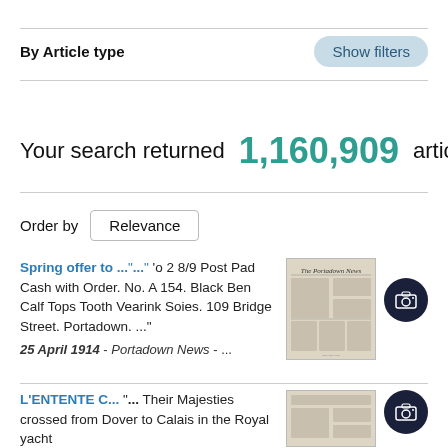By Article type
Show filters
Your search returned 1,160,909 articles
Order by Relevance
Spring offer to ..."... 'o 2 8/9 Post Pad Cash with Order. No. A 154. Black Ben Calf Tops Tooth Vearink Soies. 109 Bridge Street. Portadown. ..."
25 April 1914 - Portadown News - ...
[Figure (photo): Thumbnail of The Portadown News newspaper front page]
L'ENTENTE C... "... Their Majesties crossed from Dover to Calais in the Royal yacht
[Figure (photo): Thumbnail of a newspaper front page]